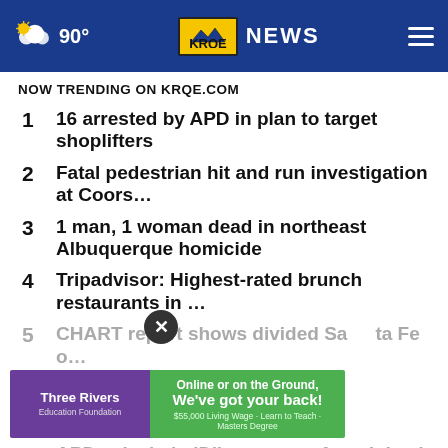90° KRQE NEWS
NOW TRENDING ON KRQE.COM
1  16 arrested by APD in plan to target shoplifters
2  Fatal pedestrian hit and run investigation at Coors...
3  1 man, 1 woman dead in northeast Albuquerque homicide
4  Tripadvisor: Highest-rated brunch restaurants in ...
5  CHART report shows divided Santa Fe o...
[Figure (screenshot): Three Rivers Education Foundation advertisement banner: 'Online or on the Ground, We've got your back! $55,000 Living Wage - Learn to Teach - Masters Degree']
6  APD asks help ID'ing woman found dead